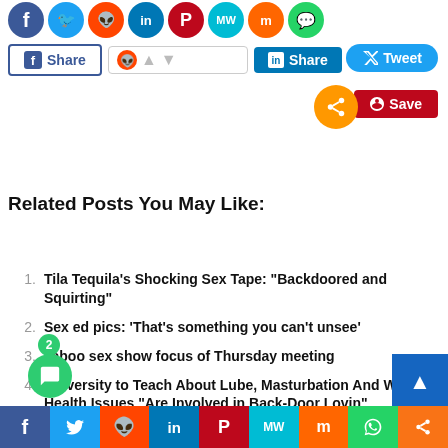[Figure (screenshot): Social media share buttons and icons including Facebook, Twitter, Reddit, LinkedIn, Pinterest, MeWe, Mix, WhatsApp circles at top; Facebook Share, Reddit upvote widget, LinkedIn Share buttons; Tweet and Save buttons; orange share circle]
Related Posts You May Like:
Tila Tequila’s Shocking Sex Tape: “Backdoored and Squirting”
Sex ed pics: ‘That’s something you can’t unsee’
Taboo sex show focus of Thursday meeting
University to Teach About Lube, Masturbation And What Health Issues “Are Involved in Back-Door Lovin”
Magic Mike XXXL: A Hardcore Parody’
[Figure (screenshot): Bottom social sharing bar with Facebook, Twitter, Reddit, LinkedIn, Pinterest, MeWe, Mix, WhatsApp, and share icons]